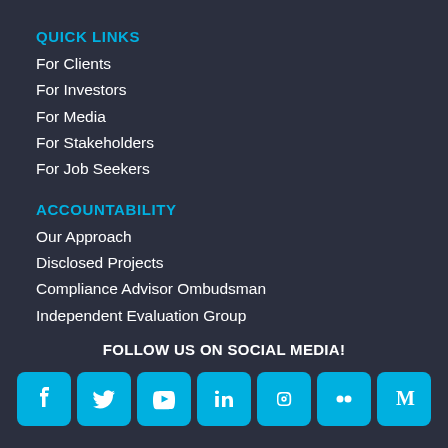QUICK LINKS
For Clients
For Investors
For Media
For Stakeholders
For Job Seekers
ACCOUNTABILITY
Our Approach
Disclosed Projects
Compliance Advisor Ombudsman
Independent Evaluation Group
FOLLOW US ON SOCIAL MEDIA!
[Figure (infographic): Social media icons for Facebook, Twitter, YouTube, LinkedIn, Instagram, Flickr, and Medium on cyan rounded square backgrounds]